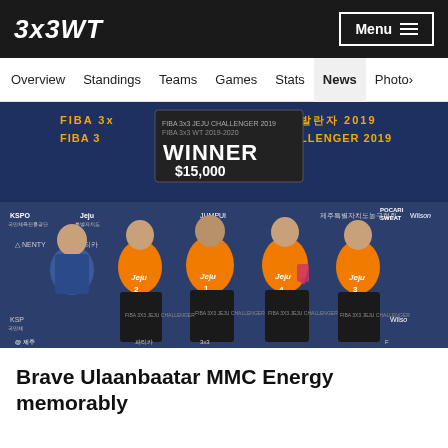3x3WT
Menu
Overview  Standings  Teams  Games  Stats  News  Photo
[Figure (photo): A team of four basketball players in orange Jeju jerseys holding a WINNER $15,000 sign and trophy at the FIBA 3x3 Jeju Challenger 2019 event, posing with a man in a blue jacket giving thumbs up. The backdrop shows FIBA 3x3 Jeju Challenger 2019 branding with Korean sponsor logos including KSPO, Jeju, Wilson, POCARI SWEAT.]
Brave Ulaanbaatar MMC Energy memorably